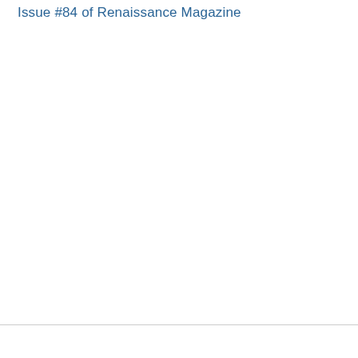Issue #84 of Renaissance Magazine